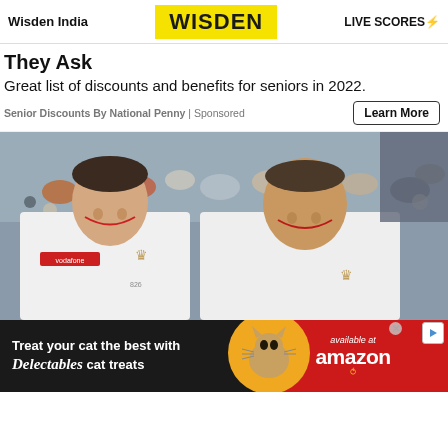Wisden India | WISDEN | LIVE SCORES
They Ask
Great list of discounts and benefits for seniors in 2022.
Senior Discounts By National Penny | Sponsored
[Figure (photo): Two England cricket players in white Vodafone-sponsored jerseys standing in front of a crowd]
[Figure (infographic): Advertisement for Delectables cat treats available at Amazon, with cat image on orange circle and red Amazon section]